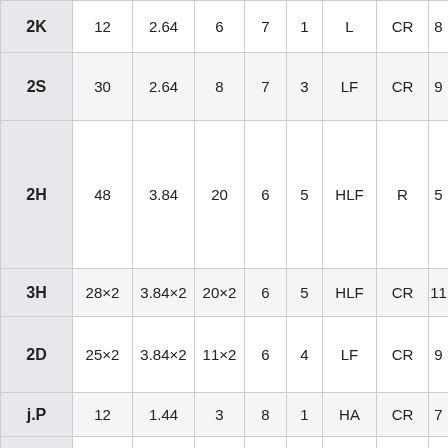| Code | Col2 | Col3 | Col4 | Col5 | Col6 | Col7 | Col8 | Col9 |
| --- | --- | --- | --- | --- | --- | --- | --- | --- |
| 2K | 12 | 2.64 | 6 | 7 | 1 | L | CR | 8 |
| 2S | 30 | 2.64 | 8 | 7 | 3 | LF | CR | 9 |
| 2H | 48 | 3.84 | 20 | 6 | 5 | HLF | R | 5 |
| 3H | 28×2 | 3.84×2 | 20×2 | 6 | 5 | HLF | CR | 11 |
| 2D | 25×2 | 3.84×2 | 11×2 | 6 | 4 | LF | CR | 9 |
| j.P | 12 | 1.44 | 3 | 8 | 1 | HA | CR | 7 |
| j.K | 20 | 2.64 | 6 | 7 | 2 | HA | CJR | 8 |
| j.S | 32 | 2.64 | 10 | 7 | 3 | HA | CJR | 10 |